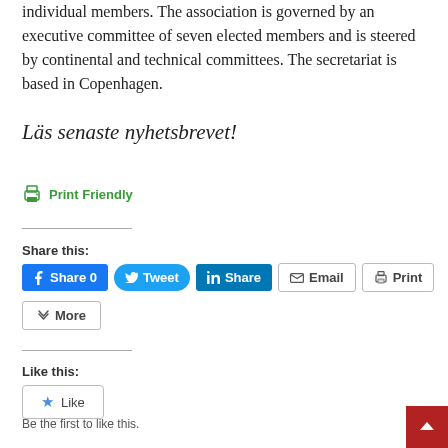individual members. The association is governed by an executive committee of seven elected members and is steered by continental and technical committees. The secretariat is based in Copenhagen.
Läs senaste nyhetsbrevet!
Print Friendly
Share this:
Share 0   Tweet   Share   Email   Print
More
Like this:
Like
Be the first to like this.